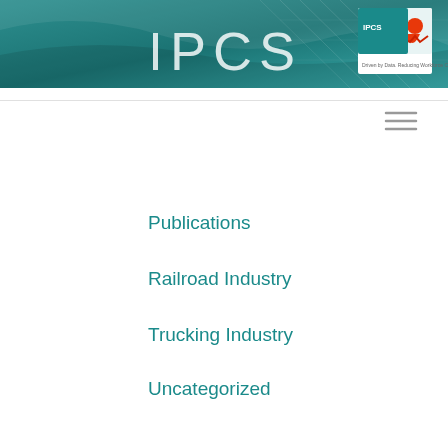[Figure (logo): IPCS website header with teal/dark teal gradient background, large white IPCS text, grid overlay, and company logo in top right corner with tagline 'Driven by Data. Reducing Workforce Cost']
[Figure (other): Hamburger menu icon (three horizontal lines) on white background]
Publications
Railroad Industry
Trucking Industry
Uncategorized
White Papers
RECENT COMMENTS
This post is password protected. Enter the password to view comments.